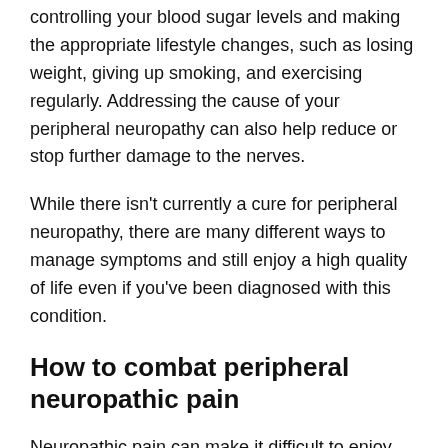controlling your blood sugar levels and making the appropriate lifestyle changes, such as losing weight, giving up smoking, and exercising regularly. Addressing the cause of your peripheral neuropathy can also help reduce or stop further damage to the nerves.
While there isn't currently a cure for peripheral neuropathy, there are many different ways to manage symptoms and still enjoy a high quality of life even if you've been diagnosed with this condition.
How to combat peripheral neuropathic pain
Neuropathic pain can make it difficult to enjoy everyday activities and may also contribute to further complications such as skin injuries and